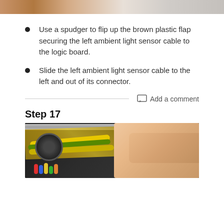[Figure (photo): Partial photo of electronic hardware at top of page, cropped]
Use a spudger to flip up the brown plastic flap securing the left ambient light sensor cable to the logic board.
Slide the left ambient light sensor cable to the left and out of its connector.
Add a comment
Step 17
[Figure (photo): Photo of electronic circuit board repair showing yellow/green cables, a circular component, gold foil, and a hand gripping a cable]